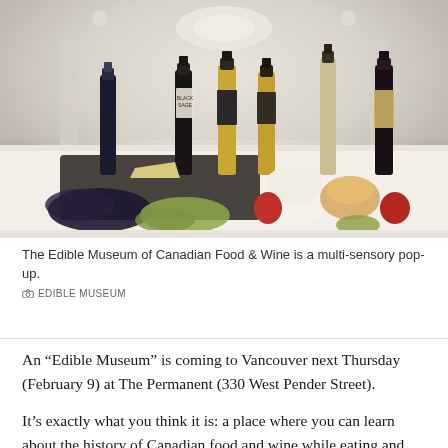[Figure (photo): Wine bottles (including Black Sage and other Canadian wine brands) arranged on a white surface alongside grapes, cheese, apples, bread and other food items, in a bright elegant hall venue.]
The Edible Museum of Canadian Food & Wine is a multi-sensory pop-up.
EDIBLE MUSEUM
An “Edible Museum” is coming to Vancouver next Thursday (February 9) at The Permanent (330 West Pender Street).
It’s exactly what you think it is: a place where you can learn about the history of Canadian food and wine while eating and